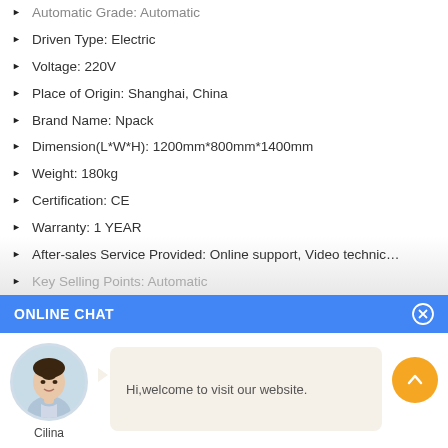Automatic Grade: Automatic
Driven Type: Electric
Voltage: 220V
Place of Origin: Shanghai, China
Brand Name: Npack
Dimension(L*W*H): 1200mm*800mm*1400mm
Weight: 180kg
Certification: CE
Warranty: 1 YEAR
After-sales Service Provided: Online support, Video technic...
Key Selling Points: Automatic
Machinery Capacity: 4000BPH
Filling Material: beer, milk, WATER, oil, juice, POWER
ONLINE CHAT
[Figure (photo): Avatar photo of a woman named Cilina used in online chat widget]
Hi,welcome to visit our website.
Cilina